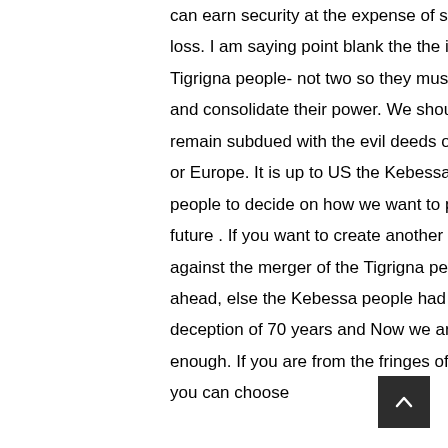can earn security at the expense of some body's loss. I am saying point blank the the is one Tigrigna people- not two so they must merge and consolidate their power. We should not remain subdued with the evil deeds of Menelik or Europe. It is up to US the Kebessa and Tigray people to decide on how we want to pursue our future . If you want to create another Jebha against the merger of the Tigrigna people go ahead, else the Kebessa people had enough of deception of 70 years and Now we are saying enough. If you are from the fringes of Eritrea you can choose